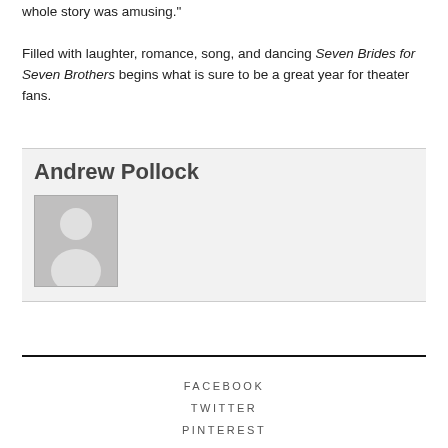whole story was amusing."

Filled with laughter, romance, song, and dancing Seven Brides for Seven Brothers begins what is sure to be a great year for theater fans.
Andrew Pollock
[Figure (photo): Generic user avatar placeholder image showing a silhouette of a person on grey background]
FACEBOOK
TWITTER
PINTEREST